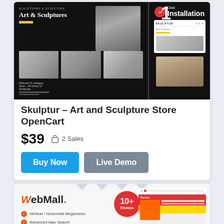[Figure (screenshot): Screenshot of Skulptur Art and Sculpture Store OpenCart theme showing dark-themed website with sculpture images and a mobile preview with 1 Click Installation badge]
Skulptur – Art and Sculpture Store OpenCart
$39  2 Sales
Buy Now   Live Demo
[Figure (screenshot): WebMall theme preview showing logo, features list (Vertical/Horizontal Megamenu, Advanced Ajax Search, Light/Dark Mode), 10+ Demos badge, and store preview screenshot]